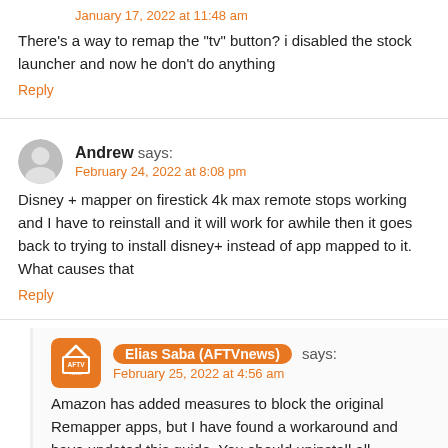January 17, 2022 at 11:48 am
There’s a way to remap the “tv” button? i disabled the stock launcher and now he don’t do anything
Reply
Andrew says:
February 24, 2022 at 8:08 pm
Disney + mapper on firestick 4k max remote stops working and I have to reinstall and it will work for awhile then it goes back to trying to install disney+ instead of app mapped to it. What causes that
Reply
Elias Saba (AFTVnews) says:
February 25, 2022 at 4:56 am
Amazon has added measures to block the original Remapper apps, but I have found a workaround and have updated this guide. You should uninstall all Remapper apps and carefully follow this guide from the beginning. Please let